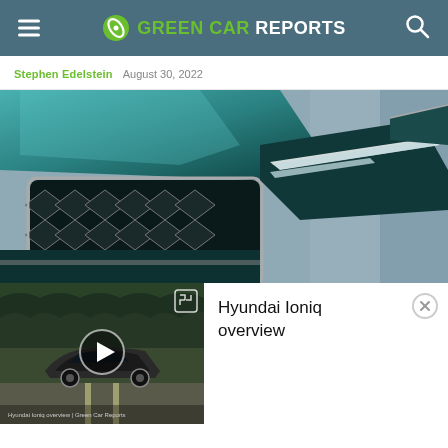GREEN CAR REPORTS
Stephen Edelstein  August 30, 2022
[Figure (photo): Close-up front view of a teal/dark green luxury car showing the grille pattern (diamond mesh), headlights with LED strip, and hood, against a blurred garage/building background.]
[Figure (photo): Video thumbnail showing a dark gray SUV/crossover driving on a road through a green forest landscape.]
Hyundai Ioniq overview